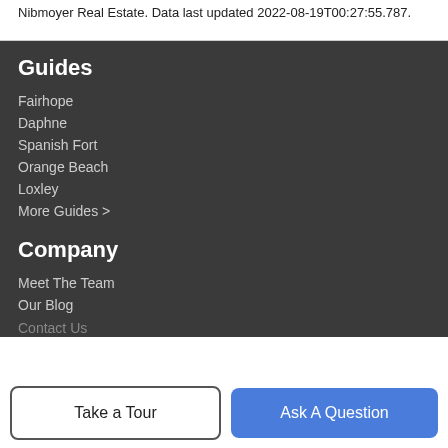Nibmoyer Real Estate. Data last updated 2022-08-19T00:27:55.787.
Guides
Fairhope
Daphne
Spanish Fort
Orange Beach
Loxley
More Guides >
Company
Meet The Team
Our Blog
Contact Us
Take a Tour
Ask A Question